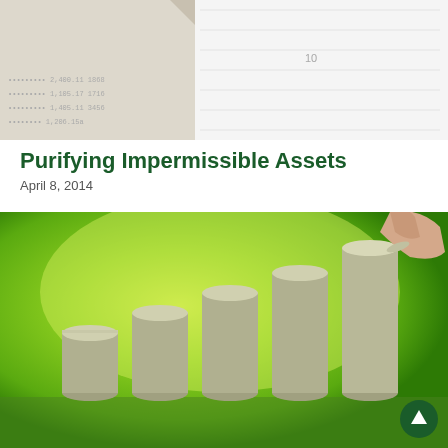[Figure (photo): Top cropped photo showing a financial ledger or chart paper with dotted/printed text rows, partially visible, light gray and white tones]
Purifying Impermissible Assets
April 8, 2014
[Figure (photo): Photo of ascending stacks of silver coins on a green blurred background, with a hand placing a coin on the tallest stack from the upper right]
[Figure (other): Green circular scroll-to-top button with upward arrow, bottom right corner]